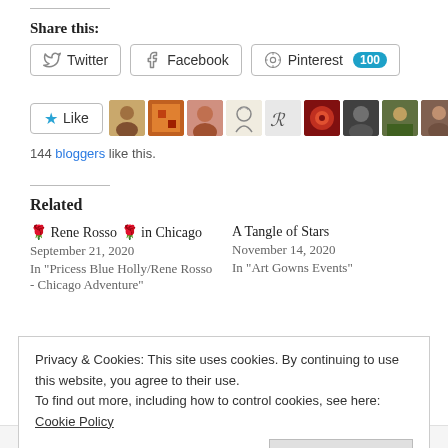Share this:
Twitter | Facebook | Pinterest 100
[Figure (other): Like button with star icon and 10 blogger avatars]
144 bloggers like this.
Related
🌹 Rene Rosso 🌹 in Chicago
September 21, 2020
In "Pricess Blue Holly/Rene Rosso - Chicago Adventure"
A Tangle of Stars
November 14, 2020
In "Art Gowns Events"
Privacy & Cookies: This site uses cookies. By continuing to use this website, you agree to their use.
To find out more, including how to control cookies, see here: Cookie Policy
Close and accept
ART GOWNS   ARTIST   CHARITIES   CHISLETS